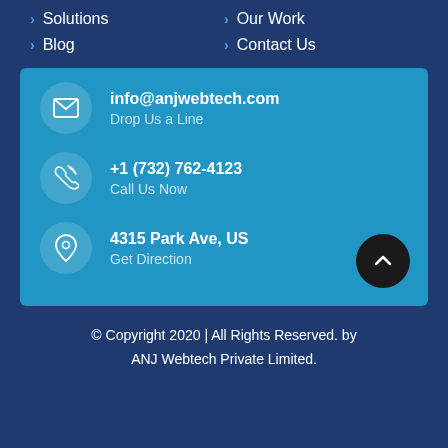> Solutions
> Our Work
> Blog
> Contact Us
info@anjwebtech.com
Drop Us a Line
+1 (732) 762-4123
Call Us Now
4315 Park Ave, US
Get Direction
© Copyright 2020 | All Rights Reserved. by ANJ Webtech Private Limited.